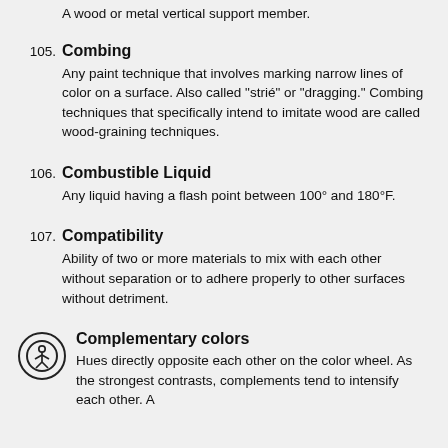A wood or metal vertical support member.
105. Combing
Any paint technique that involves marking narrow lines of color on a surface. Also called "strié" or "dragging." Combing techniques that specifically intend to imitate wood are called wood-graining techniques.
106. Combustible Liquid
Any liquid having a flash point between 100° and 180°F.
107. Compatibility
Ability of two or more materials to mix with each other without separation or to adhere properly to other surfaces without detriment.
Complementary colors
Hues directly opposite each other on the color wheel. As the strongest contrasts, complements tend to intensify each other. A